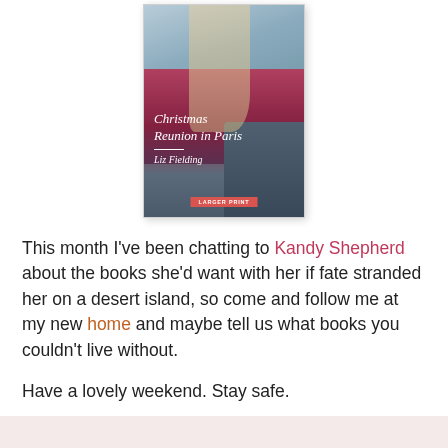[Figure (photo): Book cover of 'Christmas Reunion in Paris' by Liz Fielding, showing a couple embracing, with a 'Larger Print' badge at the bottom.]
This month I've been chatting to Kandy Shepherd about the books she'd want with her if fate stranded her on a desert island, so come and follow me at my new home and maybe tell us what books you couldn't live without.
Have a lovely weekend. Stay safe.